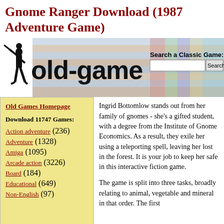Gnome Ranger Download (1987 Adventure Game)
[Figure (screenshot): Website banner for old-games with silhouette of woman with gun on left, colorful striped background, site logo text 'old-game...' in large black bold font, and a search box with label 'Search a Classic Game:' and a Search button on the right.]
Old Games Homepage
Download 11747 Games:
Action adventure (236)
Adventure (1328)
Amiga (1095)
Arcade action (3226)
Board (184)
Educational (649)
Non-English (97)
Ingrid Bottomlow stands out from her family of gnomes - she's a gifted student, with a degree from the Institute of Gnome Economics. As a result, they exile her using a teleporting spell, leaving her lost in the forest. It is your job to keep her safe in this interactive fiction game.
The game is split into three tasks, broadly relating to animal, vegetable and mineral in that order. The first